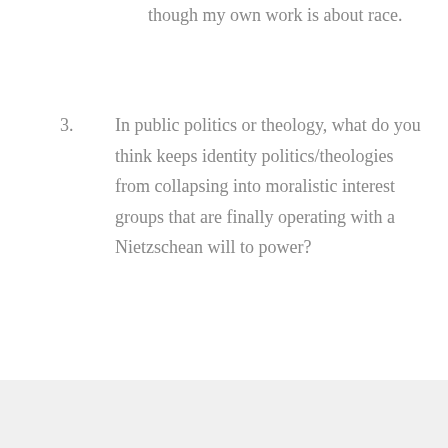though my own work is about race.
3. In public politics or theology, what do you think keeps identity politics/theologies from collapsing into moralistic interest groups that are finally operating with a Nietzschean will to power?